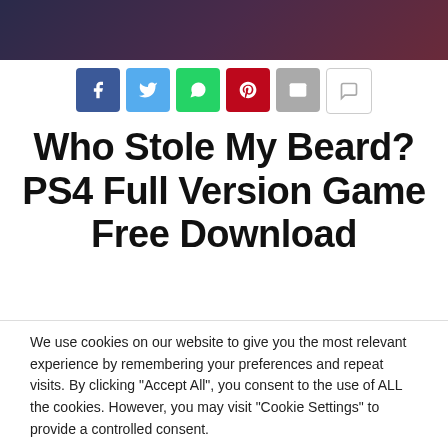[Figure (screenshot): Dark purple/pink banner image at the top of the page]
[Figure (infographic): Row of social sharing buttons: Facebook (blue), Twitter (light blue), WhatsApp (green), Pinterest (red), Email (grey), Comments (white/grey)]
Who Stole My Beard? PS4 Full Version Game Free Download
We use cookies on our website to give you the most relevant experience by remembering your preferences and repeat visits. By clicking "Accept All", you consent to the use of ALL the cookies. However, you may visit "Cookie Settings" to provide a controlled consent.